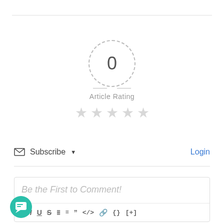[Figure (infographic): A dashed circle containing the number 0, flanked by short horizontal dashes on either side, representing an article rating of 0. Below is the text 'Article Rating' and five light gray star icons.]
Article Rating
Subscribe ▾
Login
Be the First to Comment!
[Figure (screenshot): Comment text editor toolbar with buttons: B, I, U, S, ordered list, unordered list, blockquote, code, link, {}, [+]]
[Figure (illustration): Teal circular chat bubble icon in the bottom left corner]